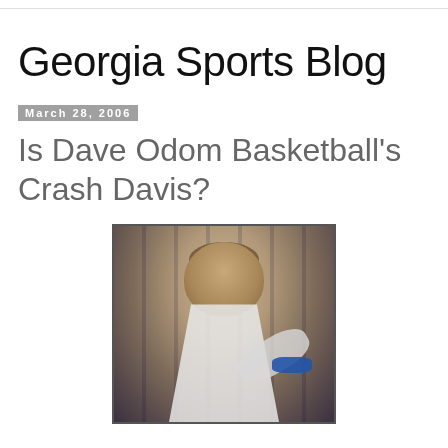Georgia Sports Blog
March 28, 2006
Is Dave Odom Basketball's Crash Davis?
[Figure (photo): A man in a white baseball jersey with blue wristband, looking upward, in a locker room or dugout setting. Still from the movie Bull Durham featuring the character Crash Davis (actor Kevin Costner).]